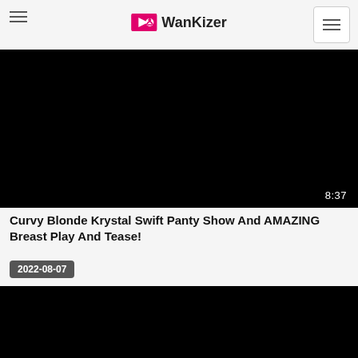WanKizer
[Figure (screenshot): Black video player thumbnail with duration 8:37 shown in bottom right corner]
Curvy Blonde Krystal Swift Panty Show And AMAZING Breast Play And Tease!
2022-08-07
[Figure (screenshot): Black video player thumbnail (second video, partially visible at bottom)]